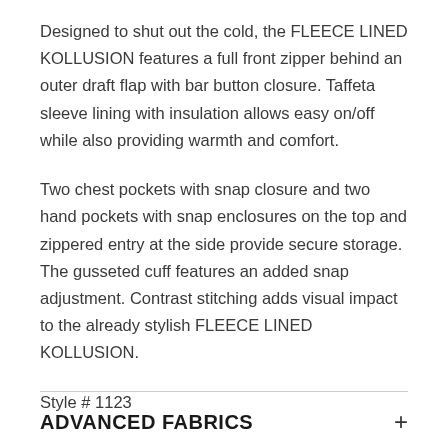Designed to shut out the cold, the FLEECE LINED KOLLUSION features a full front zipper behind an outer draft flap with bar button closure. Taffeta sleeve lining with insulation allows easy on/off while also providing warmth and comfort.
Two chest pockets with snap closure and two hand pockets with snap enclosures on the top and zippered entry at the side provide secure storage. The gusseted cuff features an added snap adjustment. Contrast stitching adds visual impact to the already stylish FLEECE LINED KOLLUSION.
Style # 1123
ADVANCED FABRICS